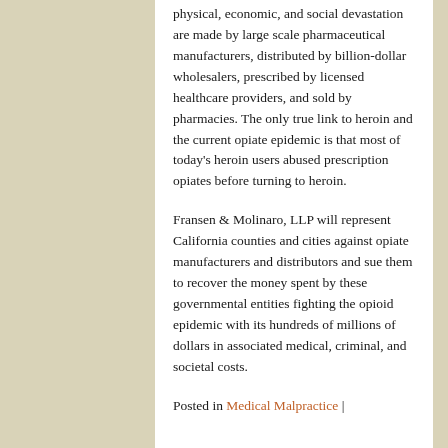physical, economic, and social devastation are made by large scale pharmaceutical manufacturers, distributed by billion-dollar wholesalers, prescribed by licensed healthcare providers, and sold by pharmacies. The only true link to heroin and the current opiate epidemic is that most of today's heroin users abused prescription opiates before turning to heroin.
Fransen & Molinaro, LLP will represent California counties and cities against opiate manufacturers and distributors and sue them to recover the money spent by these governmental entities fighting the opioid epidemic with its hundreds of millions of dollars in associated medical, criminal, and societal costs.
Posted in Medical Malpractice |